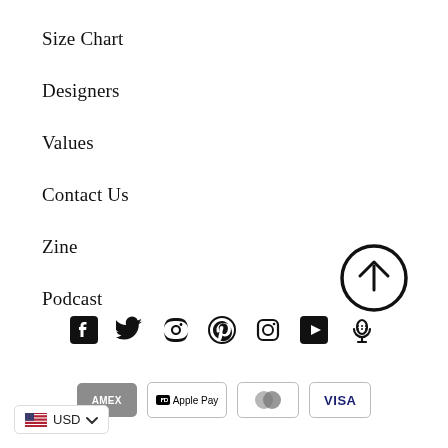Size Chart
Designers
Values
Contact Us
Zine
Podcast
[Figure (other): Scroll-to-top button: circle with upward arrow icon]
[Figure (other): Social media icons row: Facebook, Twitter, Pinterest, Instagram, YouTube, Podcast microphone]
[Figure (other): Payment method icons: Amex, Apple Pay, Mastercard, Visa]
[Figure (other): Currency selector button showing US flag and USD with chevron]